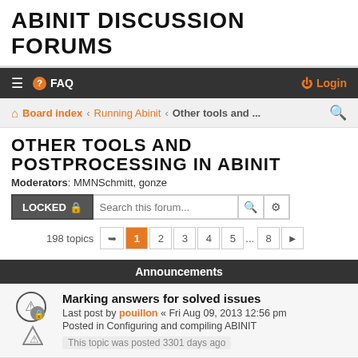ABINIT DISCUSSION FORUMS
≡  FAQ   Login
Board index · Running Abinit · Other tools and ...
OTHER TOOLS AND POSTPROCESSING IN ABINIT
Moderators: MMNSchmitt, gonze
LOCKED 🔒  Search this forum...
198 topics  1 2 3 4 5 ... 8 ▶
Announcements
Marking answers for solved issues
Last post by pouillon « Fri Aug 09, 2013 12:56 pm
Posted in Configuring and compiling ABINIT
This topic was posted 3301 days ago
Topics